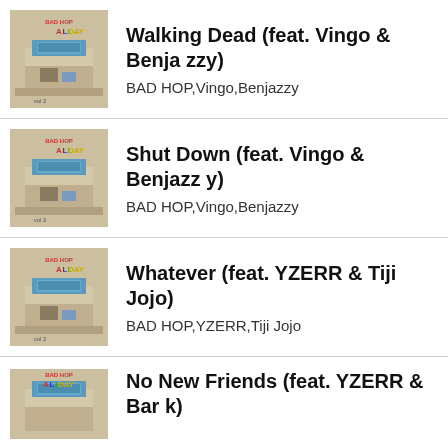Walking Dead (feat. Vingo & Benjazzy)
BAD HOP,Vingo,Benjazzy
Shut Down (feat. Vingo & Benjazzy)
BAD HOP,Vingo,Benjazzy
Whatever (feat. YZERR & Tiji Jojo)
BAD HOP,YZERR,Tiji Jojo
No New Friends (feat. YZERR & Bark)
BAD HOP,...